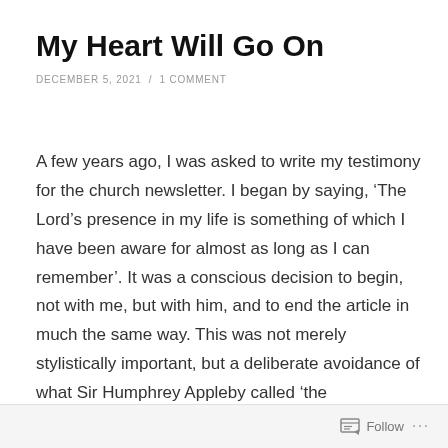My Heart Will Go On
DECEMBER 5, 2021 / 1 COMMENT
A few years ago, I was asked to write my testimony for the church newsletter. I began by saying, ‘The Lord’s presence in my life is something of which I have been aware for almost as long as I can remember’. It was a conscious decision to begin, not with me, but with him, and to end the article in much the same way. This was not merely stylistically important, but a deliberate avoidance of what Sir Humphrey Appleby called ‘the perpendicular pronoun’. Our coming to faith is never about us per se, but about the miraculous goodness of God, who saves in spite – and not because – of who and
Follow ...